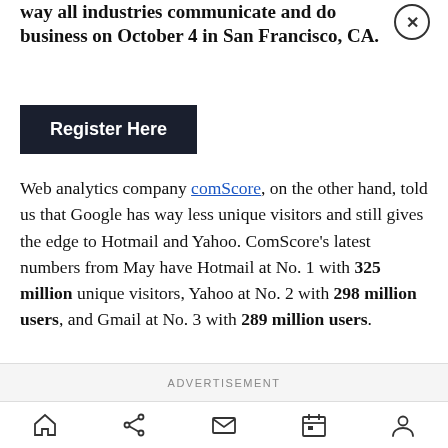way all industries communicate and do business on October 4 in San Francisco, CA.
[Figure (other): Dark button with white text reading 'Register Here']
Web analytics company comScore, on the other hand, told us that Google has way less unique visitors and still gives the edge to Hotmail and Yahoo. ComScore's latest numbers from May have Hotmail at No. 1 with 325 million unique visitors, Yahoo at No. 2 with 298 million users, and Gmail at No. 3 with 289 million users.
ADVERTISEMENT
[Figure (other): Mobile app bottom navigation bar with home, share, mail, calendar, and profile icons]